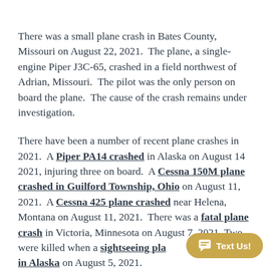There was a small plane crash in Bates County, Missouri on August 22, 2021. The plane, a single-engine Piper J3C-65, crashed in a field northwest of Adrian, Missouri. The pilot was the only person on board the plane. The cause of the crash remains under investigation.
There have been a number of recent plane crashes in 2021. A Piper PA14 crashed in Alaska on August 14 2021, injuring three on board. A Cessna 150M plane crashed in Guilford Township, Ohio on August 11, 2021. A Cessna 425 plane crashed near Helena, Montana on August 11, 2021. There was a fatal plane crash in Victoria, Minnesota on August 7, 2021. Two were killed when a sightseeing plane crashed in Alaska on August 5, 2021.
[Figure (other): Chat widget button with speech bubble icon and text 'Text Us!' on a golden/tan background pill shape, partially overlapping the second paragraph.]